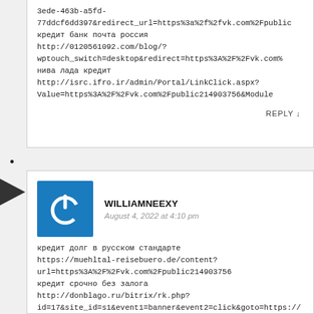3ede-463b-a5fd-77ddcf6dd397&redirect_url=https%3a%2f%2fvk.com%2Fpublic кредит банк почта россия http://0120561092.com/blog/?wptouch_switch=desktop&redirect=https%3A%2F%2Fvk.com% нива лада кредит http://isrc.ifro.ir/admin/Portal/LinkClick.aspx?Value=https%3A%2F%2Fvk.com%2Fpublic214903756&Module
REPLY ↓
WILLIAMNEEXY
August 4, 2022 at 4:10 pm
кредит долг в русском стандарте https://muehltal-reisebuero.de/content?url=https%3A%2F%2Fvk.com%2Fpublic214903756 кредит срочно без залога http://donblago.ru/bitrix/rk.php?id=17&site_id=s1&event1=banner&event2=click&goto=https:// кредиты вуз банк отзывы https://member.cinema.de/logout/64.html?